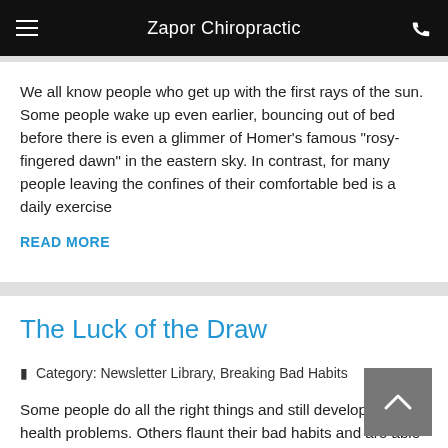Zapor Chiropractic
We all know people who get up with the first rays of the sun. Some people wake up even earlier, bouncing out of bed before there is even a glimmer of Homer's famous "rosy- fingered dawn" in the eastern sky. In contrast, for many people leaving the confines of their comfortable bed is a daily exercise
READ MORE
The Luck of the Draw
Category: Newsletter Library, Breaking Bad Habits
Some people do all the right things and still develop serious health problems. Others flaunt their bad habits and are able to live long lives, dying peacefully